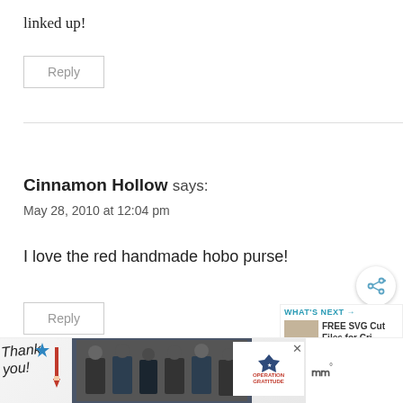linked up!
Reply
Cinnamon Hollow says:
May 28, 2010 at 12:04 pm
I love the red handmade hobo purse!
Reply
[Figure (other): Share button icon (circular button with share/network icon)]
[Figure (other): What's Next widget showing 'FREE SVG Cut Files for Cri...' with thumbnail image]
[Figure (other): Advertisement banner - Operation Gratitude with Thank You image and firefighters photo]